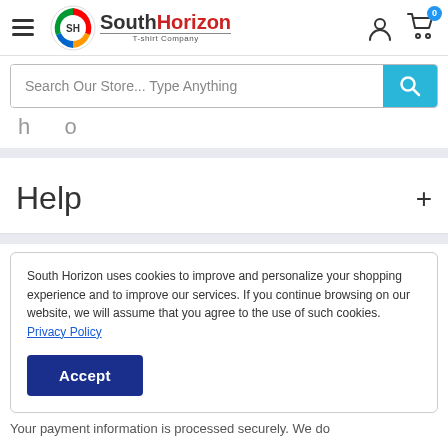South Horizon T-shirt Company — navigation header with hamburger menu, logo, user icon, cart (0)
Search Our Store... Type Anything
Help +
South Horizon uses cookies to improve and personalize your shopping experience and to improve our services. If you continue browsing on our website, we will assume that you agree to the use of such cookies. Privacy Policy
Accept
Your payment information is processed securely. We do